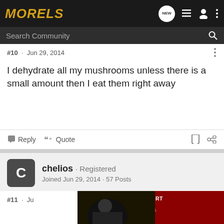MORELS
Search Community
#10 · Jun 29, 2014
I dehydrate all my mushrooms unless there is a small amount then I eat them right away
Reply  Quote
chelios · Registered
Joined Jun 29, 2014 · 57 Posts
#11 · Ju
[Figure (screenshot): Advertisement banner: YOUR NEW FAVORITE SPORT - Explore how to responsibly participate in the shooting sports. START HERE!]